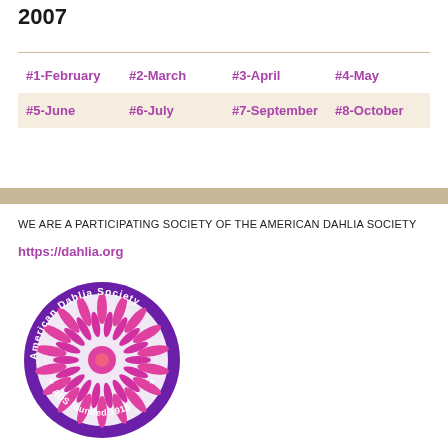2007
| #1-February | #2-March | #3-April | #4-May |
| #5-June | #6-July | #7-September | #8-October |
WE ARE A PARTICIPATING SOCIETY OF THE AMERICAN DAHLIA SOCIETY
https://dahlia.org
[Figure (logo): American Dahlia Society circular logo with purple border, pink dahlia flower in center, text 'American Dahlia Society' around the circle, 'ADS founded 1915' at the bottom]